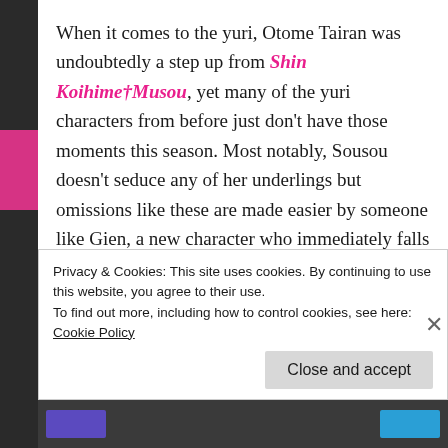When it comes to the yuri, Otome Tairan was undoubtedly a step up from Shin Koihime†Musou, yet many of the yuri characters from before just don't have those moments this season. Most notably, Sousou doesn't seduce any of her underlings but omissions like these are made easier by someone like Gien, a new character who immediately falls in love with Ryuubi and tags along with the main cast. Later on, Hakufu and her main strategist end their brief feud by getting drunk and having sex, so while Gien can't compare
Privacy & Cookies: This site uses cookies. By continuing to use this website, you agree to their use.
To find out more, including how to control cookies, see here: Cookie Policy
Close and accept